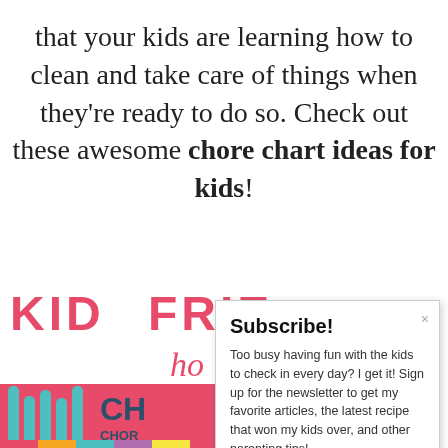that your kids are learning how to clean and take care of things when they're ready to do so. Check out these awesome chore chart ideas for kids!
[Figure (illustration): Partially visible colorful chore chart graphic with 'KID FRIENDLY' text in pink/red, italic 'ho' text, teal vertical bars on red background, 'CH' and 'CHOR' labels in dark blue, and a multicolor bar at the bottom. A subscribe popup overlay covers the right portion.]
Subscribe! Too busy having fun with the kids to check in every day? I get it! Sign up for the newsletter to get my favorite articles, the latest recipe that won my kids over, and other parenting tips!